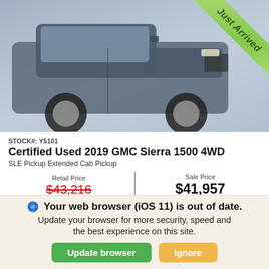[Figure (photo): Front/side view of a dark grey GMC Sierra 1500 4WD pickup truck in a dealership. A green 'Just Arrived' ribbon badge is shown in the upper right corner of the image.]
STOCK#: Y5101
Certified Used 2019 GMC Sierra 1500 4WD
SLE Pickup Extended Cab Pickup
Retail Price
$43,216
|
Sale Price
$41,957
Automatic   4WD   52,013 km   Gas V8 5.3L/
Key Features
Your web browser (iOS 11) is out of date. Update your browser for more security, speed and the best experience on this site.
Update browser   Ignore